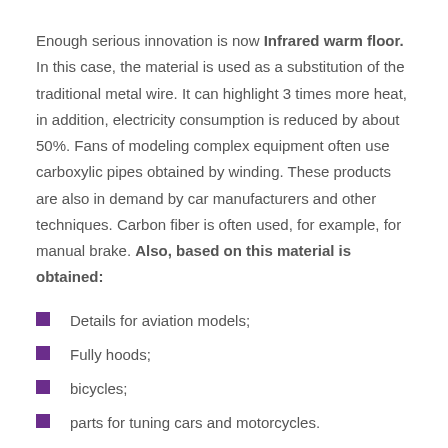Enough serious innovation is now Infrared warm floor. In this case, the material is used as a substitution of the traditional metal wire. It can highlight 3 times more heat, in addition, electricity consumption is reduced by about 50%. Fans of modeling complex equipment often use carboxylic pipes obtained by winding. These products are also in demand by car manufacturers and other techniques. Carbon fiber is often used, for example, for manual brake. Also, based on this material is obtained:
Details for aviation models;
Fully hoods;
bicycles;
parts for tuning cars and motorcycles.